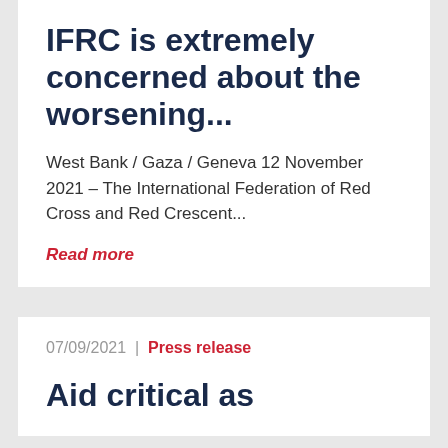IFRC is extremely concerned about the worsening...
West Bank / Gaza / Geneva 12 November 2021 – The International Federation of Red Cross and Red Crescent...
Read more
07/09/2021  |  Press release
Aid critical as